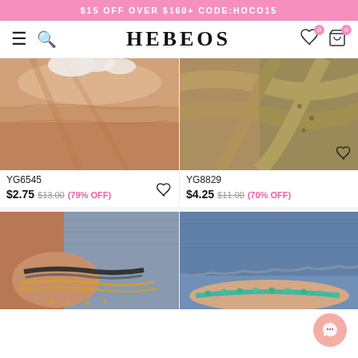$15 OFF OVER $160+ CODE:HOCO15
HEBEOS
[Figure (photo): Close-up of person's neck/ankle wearing jewelry, product YG6545]
YG6545
$2.75 $13.00 (79% OFF)
[Figure (photo): Close-up of ankle with rope/bracelet near it, product YG8829]
YG8829
$4.25 $11.00 (70% OFF)
[Figure (photo): Ankle with layered gold chain and star bracelets, bottom-left product]
[Figure (photo): Wrist with turquoise beaded bracelet and denim background, bottom-right product]